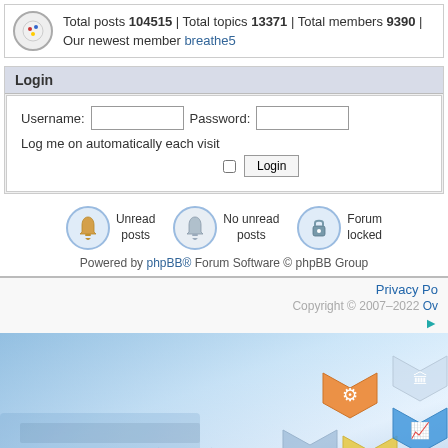Total posts 104515 | Total topics 13371 | Total members 9390 | Our newest member breathe5
Login
Username: [input] Password: [input] Log me on automatically each visit [checkbox] Login
[Figure (illustration): Three circular icons with labels: bell icon (Unread posts), bell icon grayed (No unread posts), lock icon (Forum locked)]
Powered by phpBB® Forum Software © phpBB Group
Privacy Po...
Copyright © 2007–2022 Ov...
[Figure (illustration): Blue-toned technology banner with hexagonal icons showing gears, graph, lightbulb, cloud, target, hierarchy, and bar chart on a blurred keyboard background]